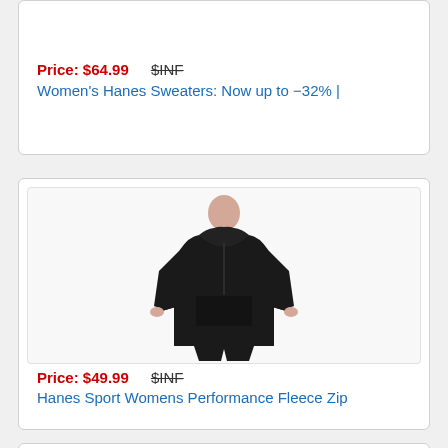Price: $64.99   $INF
Women's Hanes Sweaters: Now up to −32% |
[Figure (photo): Woman wearing a black Hanes Sport performance fleece zip hoodie sweatshirt, shown from torso up, with black leggings]
Price: $49.99   $INF
Hanes Sport Womens Performance Fleece Zip